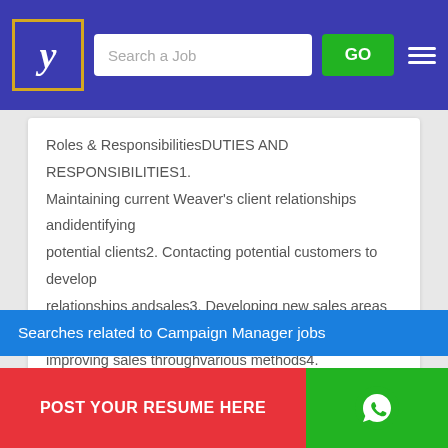[Figure (screenshot): Website header with logo (stylized Y in gold-bordered box), search bar with 'Search a Job' placeholder, green GO button, and hamburger menu on dark blue background]
Roles & ResponsibilitiesDUTIES AND RESPONSIBILITIES1. Maintaining current Weaver's client relationships andidentifying potential clients2. Contacting potential customers to develop relationships andsales3. Developing new sales areas and improving sales throughvarious methods4. Researching trends and...
Searches related to Campaign Manager jobs
accommodation manager jobs in singapore
[Figure (other): Red button labeled POST YOUR RESUME HERE]
[Figure (other): Green WhatsApp button with phone icon]